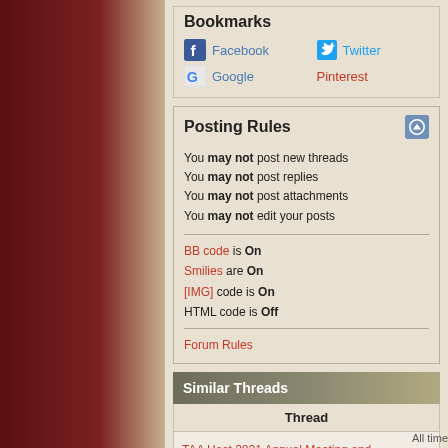Bookmarks
Facebook
Twitter
Google
Pinterest
Posting Rules
You may not post new threads
You may not post replies
You may not post attachments
You may not edit your posts
BB code is On
Smilies are On
[IMG] code is On
HTML code is Off
Forum Rules
Similar Threads
| Thread |
| --- |
| TAA Host 2021 Annual Meeting and Convention TAA 2021 Exclusive Series Products Announced |
All time